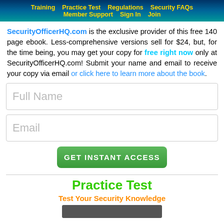Training  Practice Test  Regulations  Security FAQs  Member Support  Sign In  Join
SecurityOfficerHQ.com is the exclusive provider of this free 140 page ebook. Less-comprehensive versions sell for $24, but, for the time being, you may get your copy for free right now only at SecurityOfficerHQ.com! Submit your name and email to receive your copy via email or click here to learn more about the book.
Full Name
Email
GET INSTANT ACCESS
Practice Test
Test Your Security Knowledge